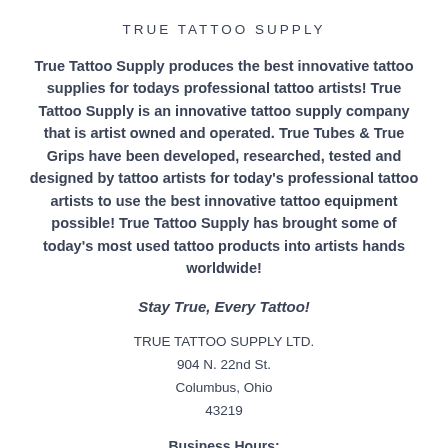TRUE TATTOO SUPPLY
True Tattoo Supply produces the best innovative tattoo supplies for todays professional tattoo artists! True Tattoo Supply is an innovative tattoo supply company that is artist owned and operated. True Tubes & True Grips have been developed, researched, tested and designed by tattoo artists for today's professional tattoo artists to use the best innovative tattoo equipment possible! True Tattoo Supply has brought some of today's most used tattoo products into artists hands worldwide!
Stay True, Every Tattoo!
TRUE TATTOO SUPPLY LTD.
904 N. 22nd St.
Columbus, Ohio
43219
Business Hours:
Monday - Friday